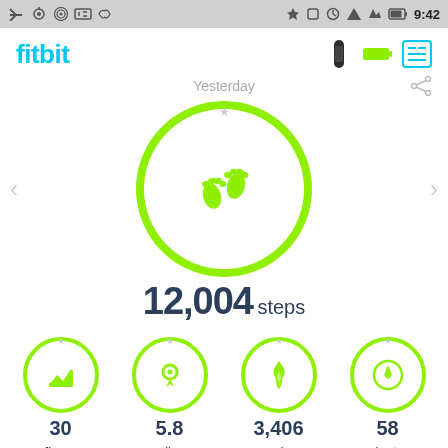[Figure (screenshot): Android status bar showing app icons, Bluetooth, battery, and time 9:42]
[Figure (screenshot): Fitbit app dashboard showing Yesterday's stats: 12,004 steps in main circle, with bottom metrics: 30 floors, 5.8 miles, 3,406 cals, 58 minutes. All stats shown in green circular icons.]